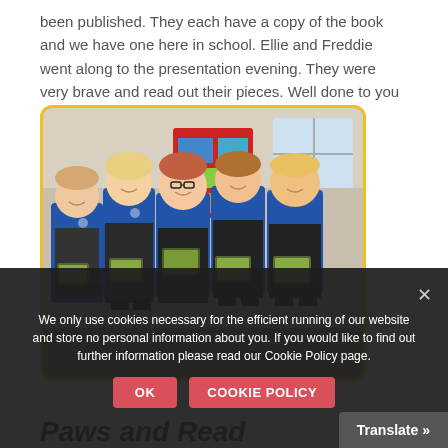been published. They each have a copy of the book and we have one here in school. Ellie and Freddie went along to the presentation evening. They were very brave and read out their pieces. Well done to you all.
[Figure (photo): Five children in blue school uniforms standing in a classroom, each holding a book with a green cover. They are smiling at the camera. The classroom has a red shelving unit in the background and windows letting in light.]
We only use cookies necessary for the efficient running of our website and store no personal information about you. If you would like to find out further information please read our Cookie Policy page.
OK
COOKIE POLICY
Translate »
Paws and Read